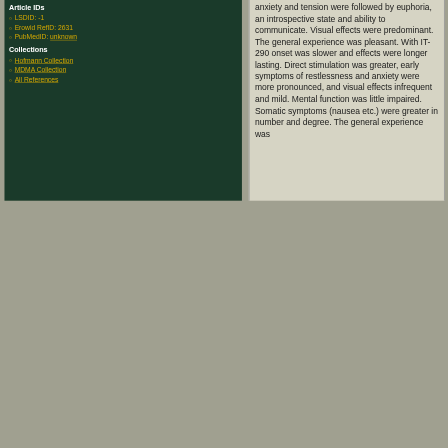Article IDs
LSDID: -1
Erowid RefID: 2631
PubMedID: unknown
Collections
Hofmann Collection
MDMA Collection
All References
anxiety and tension were followed by euphoria, an introspective state and ability to communicate. Visual effects were predominant. The general experience was pleasant. With IT-290 onset was slower and effects were longer lasting. Direct stimulation was greater, early symptoms of restlessness and anxiety were more pronounced, and visual effects infrequent and mild. Mental function was little impaired. Somatic symptoms (nausea etc.) were greater in number and degree. The general experience was [unpleasant f...]